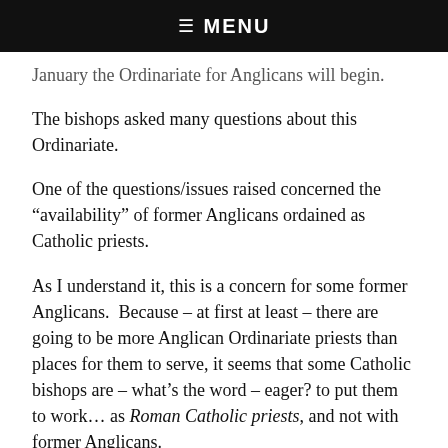☰ MENU
January the Ordinariate for Anglicans will begin.
The bishops asked many questions about this Ordinariate.
One of the questions/issues raised concerned the “availability” of former Anglicans ordained as Catholic priests.
As I understand it, this is a concern for some former Anglicans.  Because – at first at least – there are going to be more Anglican Ordinariate priests than places for them to serve, it seems that some Catholic bishops are – what’s the word – eager? to put them to work… as Roman Catholic priests, and not with former Anglicans.
If I understand things properly, this is a bit of a concern in England, though I am not well-informed about that.